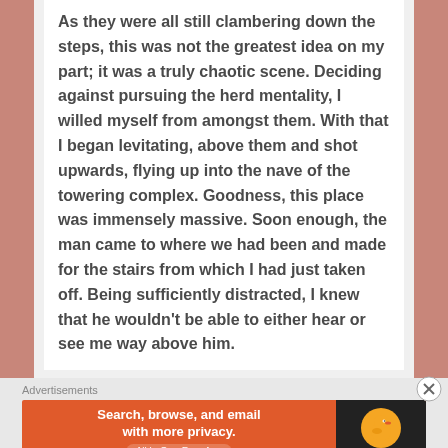As they were all still clambering down the steps, this was not the greatest idea on my part; it was a truly chaotic scene. Deciding against pursuing the herd mentality, I willed myself from amongst them. With that I began levitating, above them and shot upwards, flying up into the nave of the towering complex. Goodness, this place was immensely massive. Soon enough, the man came to where we had been and made for the stairs from which I had just taken off. Being sufficiently distracted, I knew that he wouldn't be able to either hear or see me way above him.
Too, he wouldn't think to look up and see me. I flew
[Figure (screenshot): DuckDuckGo advertisement banner with orange background. Left side shows text 'Search, browse, and email with more privacy. All in One Free App'. Right side shows dark background with DuckDuckGo duck logo and brand name.]